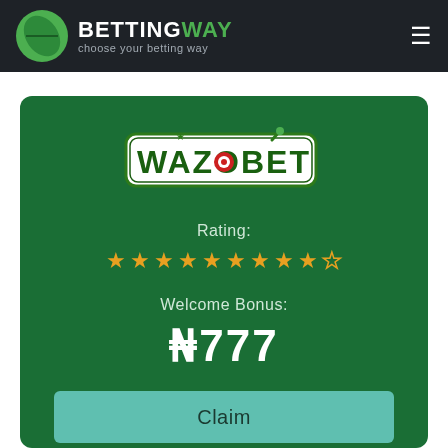BETTINGWAY — choose your betting way
[Figure (logo): Wazobet logo on dark green card background]
Rating:
★ ★ ★ ★ ★ ★ ★ ★ ★ ☆ (9 out of 10 stars)
Welcome Bonus:
₦777
Claim